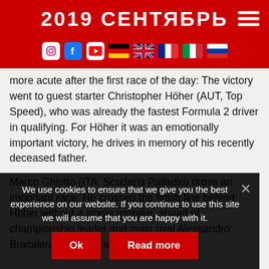2019 СЕНТЯБРЬ
[Figure (infographic): Navigation icon bar with Instagram, Facebook, YouTube social icons and German, British, French, Italian, Russian flags]
more acute after the first race of the day: The victory went to guest starter Christopher Höher (AUT, Top Speed), who was already the fastest Formula 2 driver in qualifying. For Höher it was an emotionally important victory, he drives in memory of his recently deceased father.
Marco Ghiotto (ITA, Scuderia Palladio) drove an important race: He crossed the finish line behind Höher without a single mistake, ahead of championship leader and main rival Alessandro Bracalente (ITA, Speed Center). Ghiotto
We use cookies to ensure that we give you the best experience on our website. If you continue to use this site we will assume that you are happy with it.